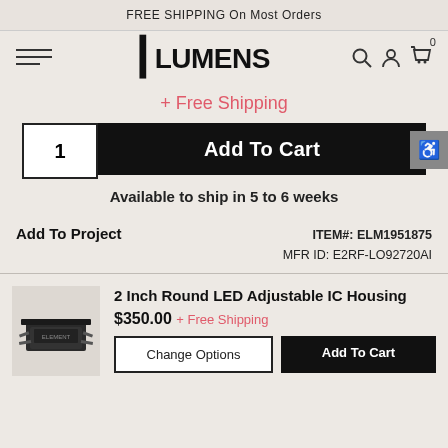FREE SHIPPING On Most Orders
[Figure (logo): Lumens logo with bracket mark]
+ Free Shipping
1  Add To Cart
Available to ship in 5 to 6 weeks
Add To Project
ITEM#: ELM1951875
MFR ID: E2RF-LO92720AI
2 Inch Round LED Adjustable IC Housing
$350.00 + Free Shipping
Change Options  Add To Cart